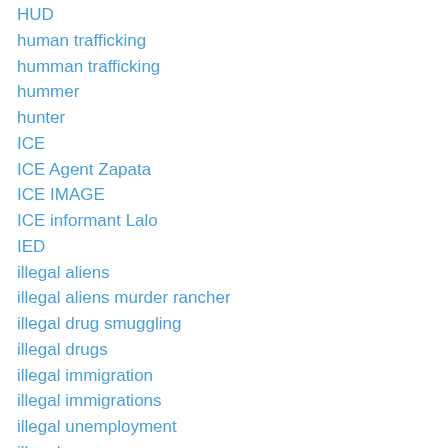HUD
human trafficking
humman trafficking
hummer
hunter
ICE
ICE Agent Zapata
ICE IMAGE
ICE informant Lalo
IED
illegal aliens
illegal aliens murder rancher
illegal drug smuggling
illegal drugs
illegal immigration
illegal immigrations
illegal unemployment
illegals
immigration
immigration laws